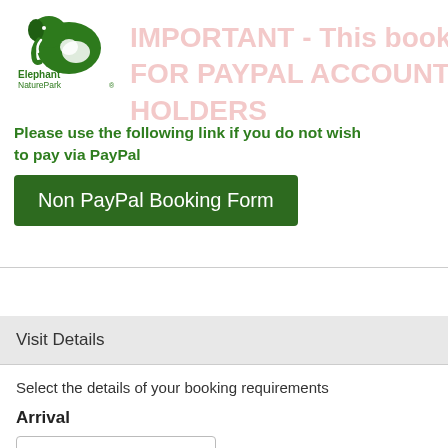[Figure (logo): Elephant Nature Park logo with elephant illustration and text 'Elephant NaturePark']
IMPORTANT - This booking form is FOR PAYPAL ACCOUNT HOLDERS
Please use the following link if you do not wish to pay via PayPal
Non PayPal Booking Form
Visit Details
Select the details of your booking requirements
Arrival
03/10/2022